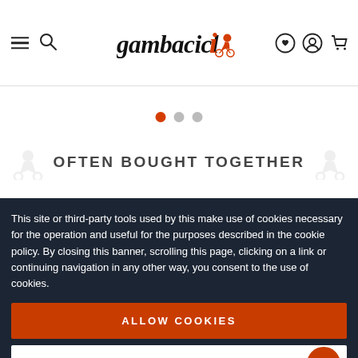gambacicli — navigation header with hamburger, search, logo, wishlist, account, cart icons
[Figure (other): Carousel dot indicators: one active orange dot and two grey dots]
OFTEN BOUGHT TOGETHER
This site or third-party tools used by this make use of cookies necessary for the operation and useful for the purposes described in the cookie policy. By closing this banner, scrolling this page, clicking on a link or continuing navigation in any other way, you consent to the use of cookies.
ALLOW COOKIES
SETTINGS